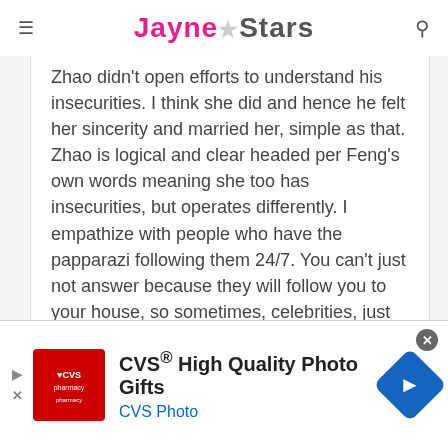JAYNE★STARS
Zhao didn't open efforts to understand his insecurities. I think she did and hence he felt her sincerity and married her, simple as that. Zhao is logical and clear headed per Feng's own words meaning she too has insecurities, but operates differently. I empathize with people who have the papparazi following them 24/7. You can't just not answer because they will follow you to your house, so sometimes, celebrities, just say
[Figure (screenshot): CVS Pharmacy advertisement banner: CVS logo in red box, text 'CVS® High Quality Photo Gifts' and 'CVS Photo' in blue, with blue diamond navigation icon on right and close button top right.]